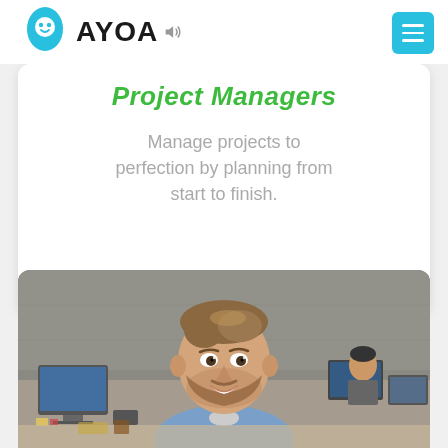AYOA
Project Managers
Manage projects to perfection by planning from start to finish.
[Figure (photo): Smiling young man with beard in a denim shirt, seated in an open-plan office with colleagues working in the background at computers. Concrete wall visible behind.]